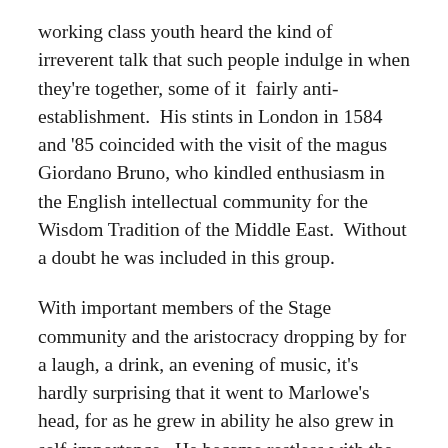working class youth heard the kind of irreverent talk that such people indulge in when they're together, some of it  fairly anti-establishment.  His stints in London in 1584 and '85 coincided with the visit of the magus Giordano Bruno, who kindled enthusiasm in the English intellectual community for the Wisdom Tradition of the Middle East.  Without a doubt he was included in this group.
With important members of the Stage community and the aristocracy dropping by for a laugh, a drink, an evening of music, it's hardly surprising that it went to Marlowe's head, for as he grew in ability he also grew in self-importance.  He became restless with the restrictions imposed on writers by the Crown.  Both Oxford and Walsingham were well aware of what lines they could cross, where they could speak freely and where they could not.  They must have warned the youth, but he wouldn't listen.  He felt himself standing